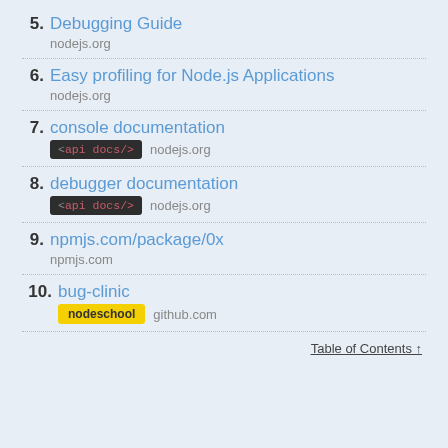5. Debugging Guide
nodejs.org
6. Easy profiling for Node.js Applications
nodejs.org
7. console documentation
<api docs/> nodejs.org
8. debugger documentation
<api docs/> nodejs.org
9. npmjs.com/package/0x
npmjs.com
10. bug-clinic
nodeschool github.com
Table of Contents ↑